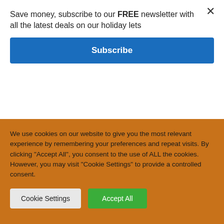Save money, subscribe to our FREE newsletter with all the latest deals on our holiday lets
Subscribe
famous city of Cognac, including the houses of Hennessy and Martell.
Local Goats Cheese – visit David and Nathalie at their farm La C'lait des Champs, Chez Chauveau 86400
We use cookies on our website to give you the most relevant experience by remembering your preferences and repeat visits. By clicking "Accept All", you consent to the use of ALL the cookies. However, you may visit "Cookie Settings" to provide a controlled consent.
Cookie Settings
Accept All